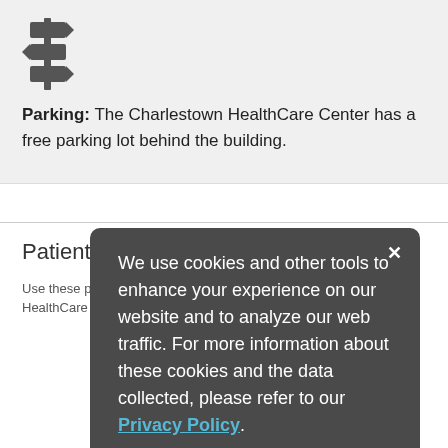[Figure (illustration): Signpost/directional signs icon in dark gray]
Parking: The Charlestown HealthCare Center has a free parking lot behind the building.
Patient Resources
Use these patient resources to help with your visit to the Charlestown HealthCare Center, from managing appoint...
We use cookies and other tools to enhance your experience on our website and to analyze our web traffic. For more information about these cookies and the data collected, please refer to our Privacy Policy.